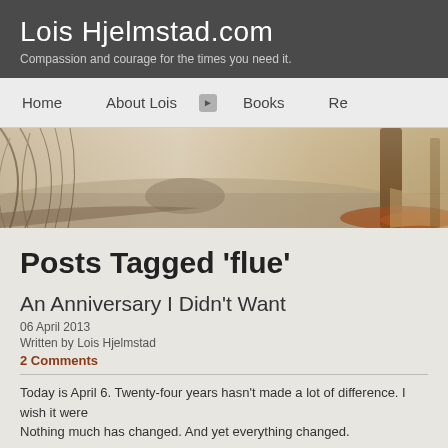Lois Hjelmstad.com
Compassion and courage for the times you need it.
Home   About Lois   ▶ Books   Re
[Figure (photo): Misty autumn park scene with bare willow tree branches hanging over a reflective canal or river, a bridge in the background, and a large tree with red/orange fallen leaves on the right side of a foggy path.]
Posts Tagged 'flue'
An Anniversary I Didn't Want
06 April 2013
Written by Lois Hjelmstad
2 Comments
Today is April 6. Twenty-four years hasn't made a lot of difference. I wish it were
Nothing much has changed. And yet everything changed.